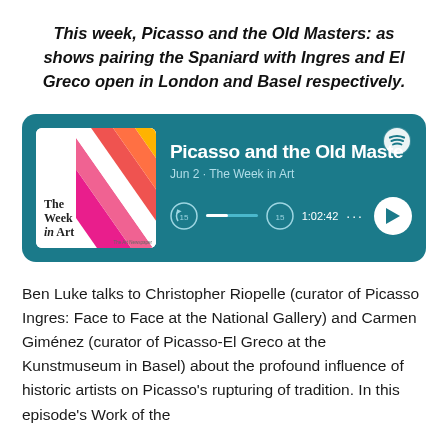This week, Picasso and the Old Masters: as shows pairing the Spaniard with Ingres and El Greco open in London and Basel respectively.
[Figure (screenshot): Spotify podcast player card showing 'Picasso and the Old Masters' episode from 'The Week in Art', dated Jun 2, duration 1:02:42, with album art featuring colorful diagonal stripes and progress bar controls.]
Ben Luke talks to Christopher Riopelle (curator of Picasso Ingres: Face to Face at the National Gallery) and Carmen Giménez (curator of Picasso-El Greco at the Kunstmuseum in Basel) about the profound influence of historic artists on Picasso's rupturing of tradition. In this episode's Work of the